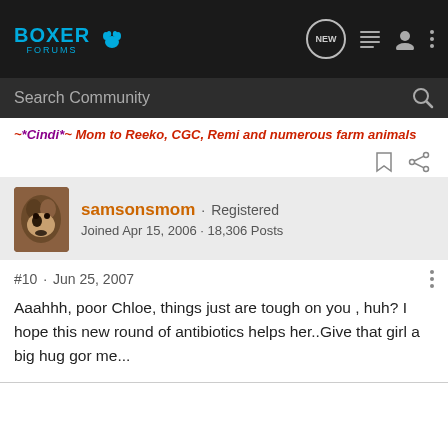Boxer Forums
Search Community
~*Cindi*~ Mom to Reeko, CGC, Remi and numerous farm animals
samsonsmom · Registered
Joined Apr 15, 2006 · 18,306 Posts
#10 · Jun 25, 2007
Aaahhh, poor Chloe, things just are tough on you , huh? I hope this new round of antibiotics helps her..Give that girl a big hug gor me...